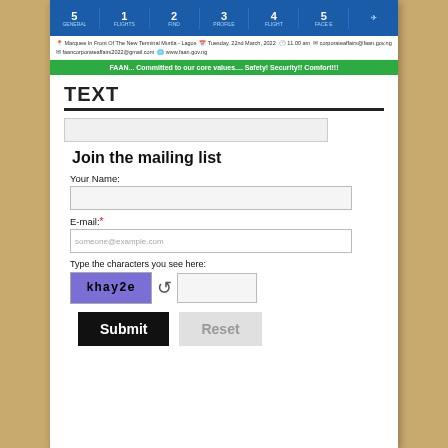[Figure (screenshot): FAAN website header with numbered steps, contact info bar, and green tagline banner reading: FAAN... Committed to our core values.... Safety! Security!! Comfort!!!]
TEXT
Join the mailing list
Your Name:
E-mail: *
Type the characters you see here:
[Figure (screenshot): CAPTCHA image showing text 'khay2e' on purple/blue background, followed by a refresh icon and a text input box]
Submit
Reset